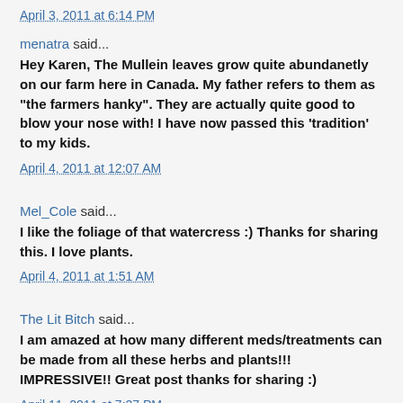April 3, 2011 at 6:14 PM
menatra said...
Hey Karen, The Mullein leaves grow quite abundanetly on our farm here in Canada. My father refers to them as "the farmers hanky". They are actually quite good to blow your nose with! I have now passed this 'tradition' to my kids.
April 4, 2011 at 12:07 AM
Mel_Cole said...
I like the foliage of that watercress :) Thanks for sharing this. I love plants.
April 4, 2011 at 1:51 AM
The Lit Bitch said...
I am amazed at how many different meds/treatments can be made from all these herbs and plants!!! IMPRESSIVE!! Great post thanks for sharing :)
April 11, 2011 at 7:27 PM